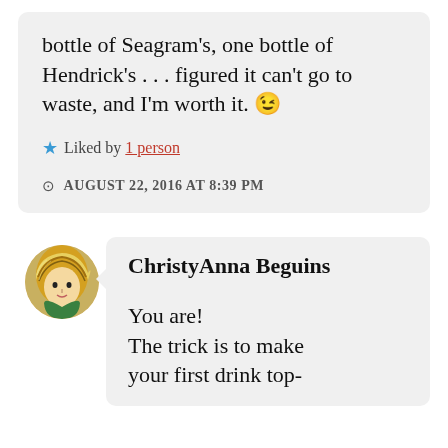bottle of Seagram's, one bottle of Hendrick's . . . figured it can't go to waste, and I'm worth it. 😉
★ Liked by 1 person
AUGUST 22, 2016 AT 8:39 PM
[Figure (illustration): Circular avatar image of ChristyAnna Beguins, showing a stylized artistic portrait of a woman with striped hair in yellows and greens]
ChristyAnna Beguins
You are! The trick is to make your first drink top-